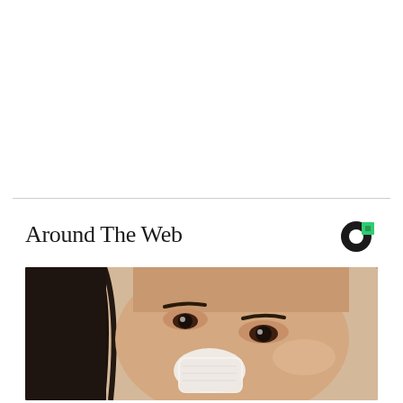Around The Web
[Figure (photo): Close-up photo of a woman's face with dark hair, looking slightly upward; she has a white bandage or patch covering her nose area]